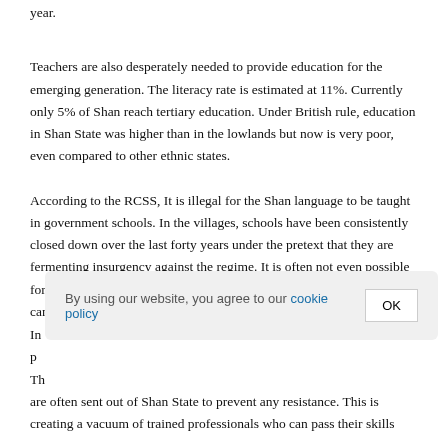year.
Teachers are also desperately needed to provide education for the emerging generation. The literacy rate is estimated at 11%. Currently only 5% of Shan reach tertiary education. Under British rule, education in Shan State was higher than in the lowlands but now is very poor, even compared to other ethnic states.
According to the RCSS, It is illegal for the Shan language to be taught in government schools. In the villages, schools have been consistently closed down over the last forty years under the pretext that they are fermenting insurgency against the regime. It is often not even possible for the villagers to send their children to Burman schools as they cannot afford the fees.
In [partial, obscured by cookie banner] d. The [partial] g are often sent out of Shan State to prevent any resistance. This is creating a vacuum of trained professionals who can pass their skills
By using our website, you agree to our cookie policy  OK